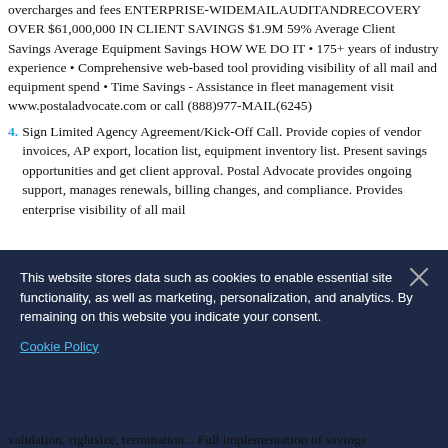overcharges and fees ENTERPRISE-WIDEMAILAUDITANDRECOVERY OVER $61,000,000 IN CLIENT SAVINGS $1.9M 59% Average Client Savings Average Equipment Savings HOW WE DO IT • 175+ years of industry experience • Comprehensive web-based tool providing visibility of all mail and equipment spend • Time Savings - Assistance in fleet management visit www.postaladvocate.com or call (888)977-MAIL(6245)
4. Sign Limited Agency Agreement/Kick-Off Call. Provide copies of vendor invoices, AP export, location list, equipment inventory list. Present savings opportunities and get client approval. Postal Advocate provides ongoing support, manages renewals, billing changes, and compliance. Provides enterprise visibility of all mail and equipment spend.
This website stores data such as cookies to enable essential site functionality, as well as marketing, personalization, and analytics. By remaining on this website you indicate your consent.
Cookie Policy
validation, rightsize, termination... Full implementation of savings